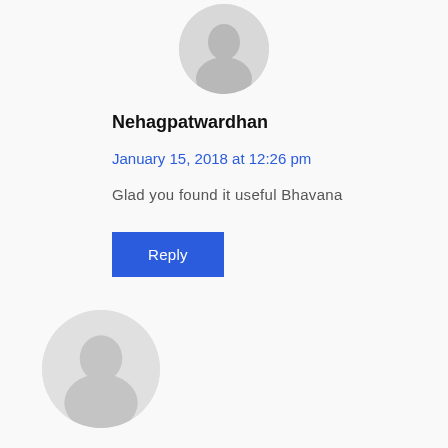[Figure (photo): Circular avatar/profile image placeholder (small, top center)]
Nehagpatwardhan
January 15, 2018 at 12:26 pm
Glad you found it useful Bhavana
Reply
[Figure (photo): Circular avatar/profile image placeholder (large, bottom left, partially visible)]